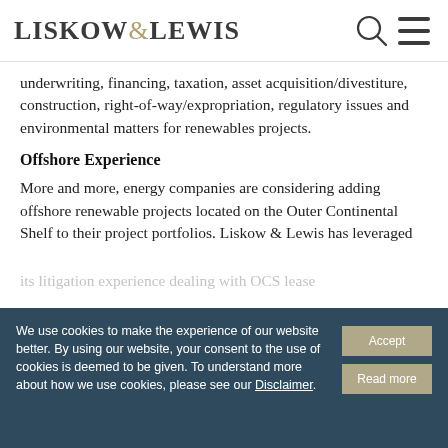LISKOW&LEWIS
underwriting, financing, taxation, asset acquisition/divestiture, construction, right-of-way/expropriation, regulatory issues and environmental matters for renewables projects.
Offshore Experience
More and more, energy companies are considering adding offshore renewable projects located on the Outer Continental Shelf to their project portfolios. Liskow & Lewis has leveraged its litigation experience dealing with OCS lease...
We use cookies to make the experience of our website better. By using our website, your consent to the use of cookies is deemed to be given. To understand more about how we use cookies, please see our Disclaimer.